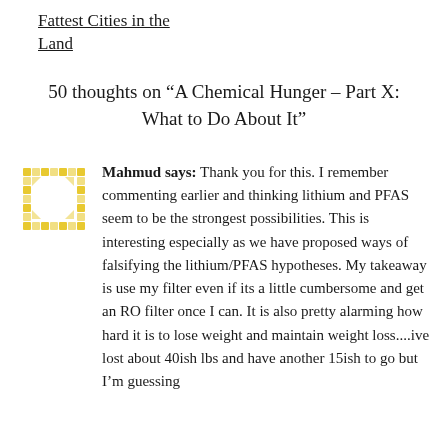Fattest Cities in the Land
50 thoughts on “A Chemical Hunger – Part X: What to Do About It”
Mahmud says: Thank you for this. I remember commenting earlier and thinking lithium and PFAS seem to be the strongest possibilities. This is interesting especially as we have proposed ways of falsifying the lithium/PFAS hypotheses. My takeaway is use my filter even if its a little cumbersome and get an RO filter once I can. It is also pretty alarming how hard it is to lose weight and maintain weight loss....ive lost about 40ish lbs and have another 15ish to go but I’m guessing